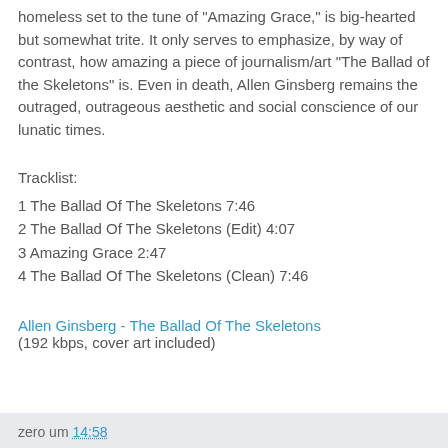homeless set to the tune of "Amazing Grace," is big-hearted but somewhat trite. It only serves to emphasize, by way of contrast, how amazing a piece of journalism/art "The Ballad of the Skeletons" is. Even in death, Allen Ginsberg remains the outraged, outrageous aesthetic and social conscience of our lunatic times.
Tracklist:
1 The Ballad Of The Skeletons 7:46
2 The Ballad Of The Skeletons (Edit) 4:07
3 Amazing Grace 2:47
4 The Ballad Of The Skeletons (Clean) 7:46
Allen Ginsberg - The Ballad Of The Skeletons
(192 kbps, cover art included)
zero um 14:58